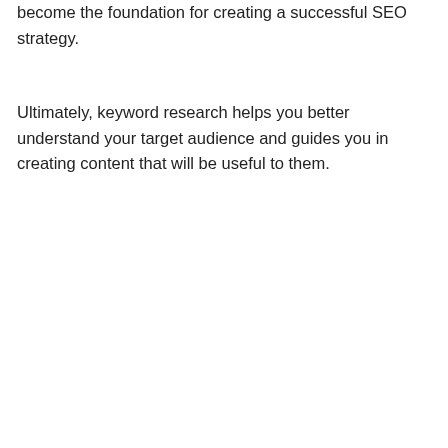become the foundation for creating a successful SEO strategy.
Ultimately, keyword research helps you better understand your target audience and guides you in creating content that will be useful to them.